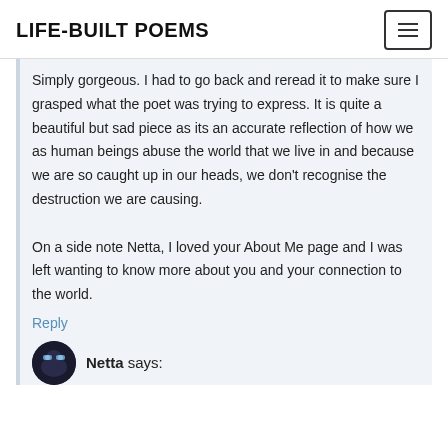LIFE-BUILT POEMS
Simply gorgeous. I had to go back and reread it to make sure I grasped what the poet was trying to express. It is quite a beautiful but sad piece as its an accurate reflection of how we as human beings abuse the world that we live in and because we are so caught up in our heads, we don't recognise the destruction we are causing.

On a side note Netta, I loved your About Me page and I was left wanting to know more about you and your connection to the world.
Reply
Netta says: